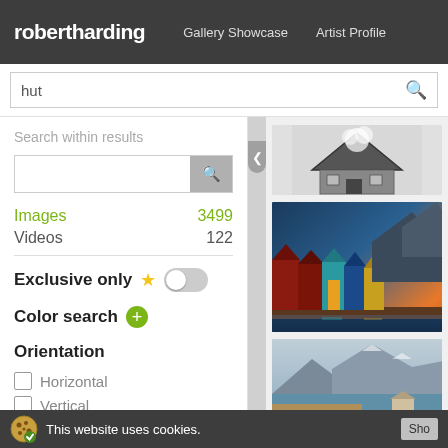robertharding  Gallery Showcase  Artist Profile
hut
Search within results
Images  3499
Videos  122
Exclusive only
Color search
Orientation
Horizontal
Vertical
Panoramic
[Figure (photo): Black and white photo of a small hut/cabin with smoke]
[Figure (photo): Colorful wooden boat huts on a dock at sunset with mountains and water]
[Figure (photo): Arctic landscape with a small hut, mountains and water]
This website uses cookies.  Sho